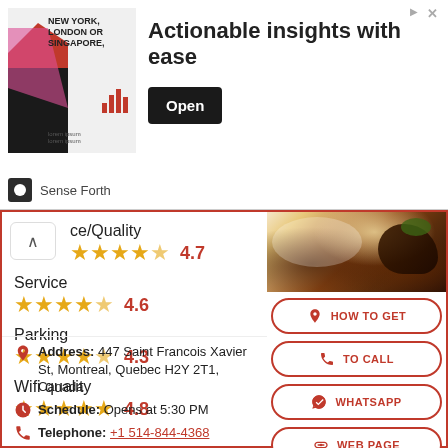[Figure (screenshot): Advertisement banner: New York, London or Singapore themed ad with headline 'Actionable insights with ease' and 'Open' button, by Sense Forth]
ce/Quality ★★★★½ 4.7
Service ★★★★½ 4.6
Parking ★★★★½ 4.3
Wifi quality ★★★★★ 4.8
[Figure (photo): Food photo showing a gourmet dish on a white plate with garnish]
HOW TO GET
TO CALL
WHATSAPP
WEB PAGE
Address: 447 Saint Francois Xavier St, Montreal, Quebec H2Y 2T1, Canada
Schedule: Opens at 5:30 PM
Telephone: +1 514-844-4368